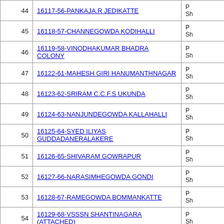| # | Name/Link | Details |
| --- | --- | --- |
| 44 | 16117-56-PANKAJA.R JEDIKATTE | P Sh |
| 45 | 16118-57-CHANNEGOWDA KODIHALLI | P Sh |
| 46 | 16119-58-VINODHAKUMAR BHADRA COLONY | P Sh |
| 47 | 16122-61-MAHESH GIRI HANUMANTHNAGAR | P Sh |
| 48 | 16123-62-SRIRAM C.C.F.S UKUNDA | P Sh |
| 49 | 16124-63-NANJUNDEGOWDA KALLAHALLI | P Sh |
| 50 | 16125-64-SYED ILIYAS GUDDADANERALAKERE | P Sh |
| 51 | 16126-65-SHIVARAM GOWRAPUR | P Sh |
| 52 | 16127-66-NARASIMHEGOWDA GONDI | P Sh |
| 53 | 16128-67-RAMEGOWDA BOMMANKATTE | P Sh |
| 54 | 16129-68-VSSSN SHANTINAGARA (ATTACHED) | P Sh |
| 55 | 16130-69-MUDLIGIRIGOWDA K.H.NAGARA | P Sh |